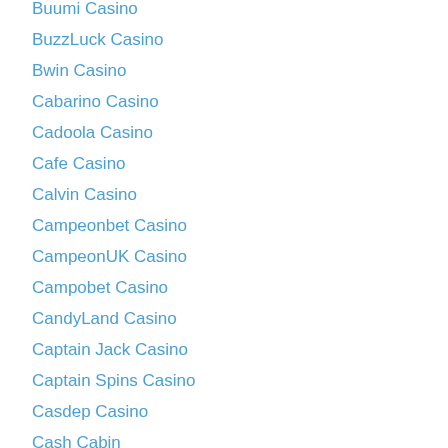Buumi Casino
BuzzLuck Casino
Bwin Casino
Cabarino Casino
Cadoola Casino
Cafe Casino
Calvin Casino
Campeonbet Casino
CampeonUK Casino
Campobet Casino
CandyLand Casino
Captain Jack Casino
Captain Spins Casino
Casdep Casino
Cash Cabin